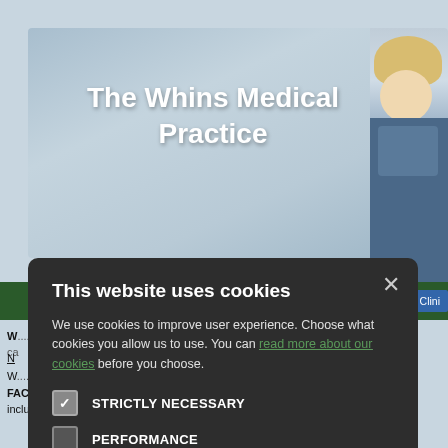[Figure (screenshot): The Whins Medical Practice website hero banner with blue gradient background and white bold title text 'The Whins Medical Practice']
The Whins Medical Practice
[Figure (photo): Partial photo of a young blonde child on right side]
W... o consultations. Clini ca...
N...
W... s during the Covid 1... FACILITY IS BY PRIOR ARRANGEMENT ONLY. Patients who rec include symptoms of Covid 19) should phone the practice first. Furth
[Figure (screenshot): Cookie consent modal dialog with dark background. Title: 'This website uses cookies'. Body text: 'We use cookies to improve user experience. Choose what cookies you allow us to use. You can read more about our cookies before you choose.' Checkboxes for STRICTLY NECESSARY (checked), PERFORMANCE (unchecked), TARGETING (unchecked), FUNCTIONALITY (unchecked). Two buttons: ACCEPT ALL and DECLINE ALL.]
This website uses cookies
We use cookies to improve user experience. Choose what cookies you allow us to use. You can read more about our cookies before you choose.
STRICTLY NECESSARY
PERFORMANCE
TARGETING
FUNCTIONALITY
ACCEPT ALL
DECLINE ALL